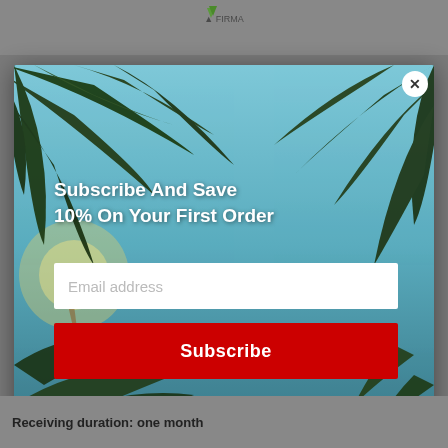[Figure (screenshot): Website header with green plant logo and FIRMA text on gray background]
[Figure (photo): Modal popup overlaid on palm tree photo background with sky. Contains subscribe and save promotional message, email input field, and red subscribe button.]
Subscribe And Save 10% On Your First Order
Email address
Subscribe
Receiving duration: one month